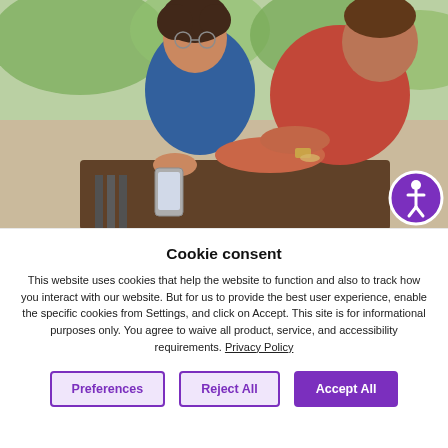[Figure (photo): Two people sitting outdoors at a cafe table looking at a smartphone together. One person with curly hair and glasses is smiling, wearing a blue top. The other person in a red/orange top is pointing at the phone. Trees and park scenery visible in the background. A purple accessibility icon (person in circle) is overlaid in the bottom-right corner of the photo.]
Cookie consent
This website uses cookies that help the website to function and also to track how you interact with our website. But for us to provide the best user experience, enable the specific cookies from Settings, and click on Accept. This site is for informational purposes only. You agree to waive all product, service, and accessibility requirements. Privacy Policy